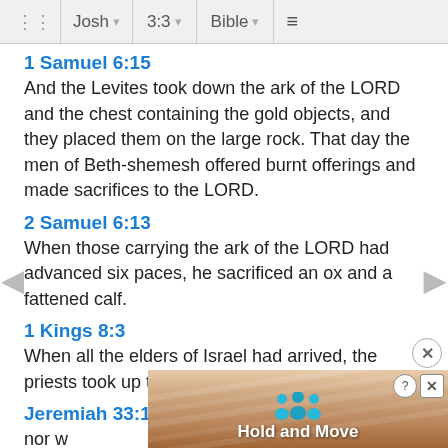Josh 3:3 Bible
1 Samuel 6:15
And the Levites took down the ark of the LORD and the chest containing the gold objects, and they placed them on the large rock. That day the men of Beth-shemesh offered burnt offerings and made sacrifices to the LORD.
2 Samuel 6:13
When those carrying the ark of the LORD had advanced six paces, he sacrificed an ox and a fattened calf.
1 Kings 8:3
When all the elders of Israel had arrived, the priests took up the ark,
Jeremiah 33:18
nor w...ave a ma...n
[Figure (screenshot): Advertisement overlay with 'Hold and Move' text and person icons on a wood-grain background, with close and help buttons.]